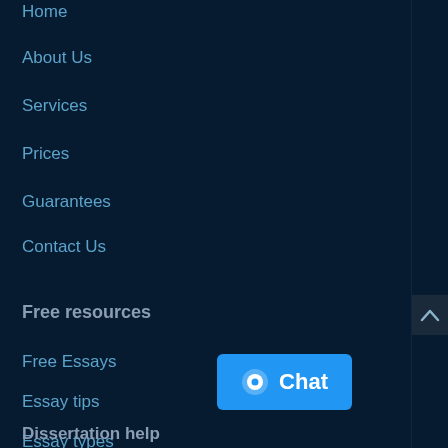Home
About Us
Services
Prices
Guarantees
Contact Us
Free resources
Free Essays
Essay tips
Essay types
Plagiarism Checker
Free Essays
Dissertation help